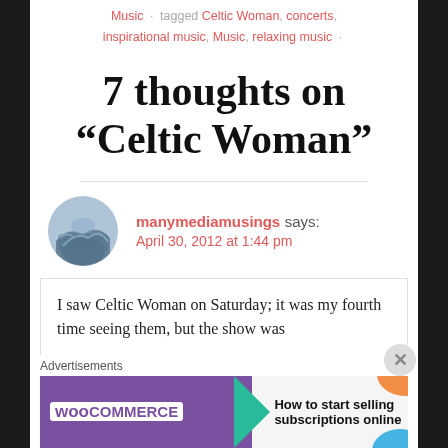Music · tagged Celtic Woman, concerts, inspirational music, Music, relaxing music ·
7 thoughts on “Celtic Woman”
manymediamusings says: April 30, 2012 at 1:44 pm
I saw Celtic Woman on Saturday; it was my fourth time seeing them, but the show was
[Figure (other): WooCommerce advertisement banner: How to start selling subscriptions online]
Advertisements